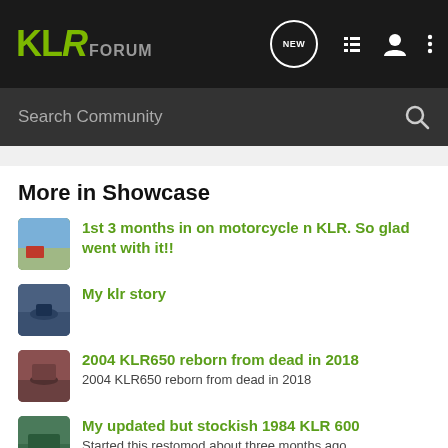KLR FORUM
Search Community
More in Showcase
1st 3 months in on motorcycle n KLR. So glad went with it!!
My klr story
2004 KLR650 reborn from dead in 2018 — 2004 KLR650 reborn from dead in 2018
My updated but stockish 1984 KLR 600 — Started this restomod about three months ago
Vintage Kawasaki